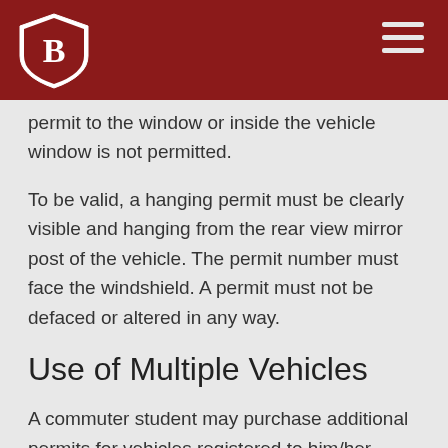[Binghamton University logo and navigation bar]
…allow, in the rear view corner. Taping a permit to the window or inside the vehicle window is not permitted.
To be valid, a hanging permit must be clearly visible and hanging from the rear view mirror post of the vehicle. The permit number must face the windshield. A permit must not be defaced or altered in any way.
Use of Multiple Vehicles
A commuter student may purchase additional permits for vehicles registered to him/her.
Faculty/staff who purchase a hanging permit may